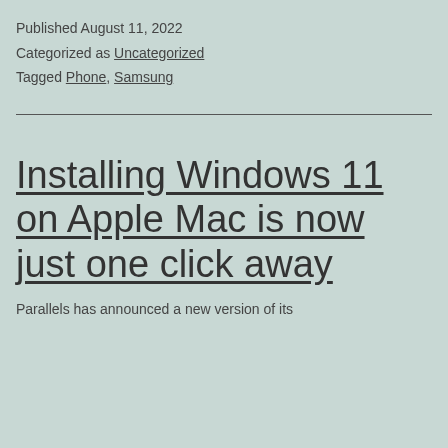Published August 11, 2022
Categorized as Uncategorized
Tagged Phone, Samsung
Installing Windows 11 on Apple Mac is now just one click away
Parallels has announced a new version of its